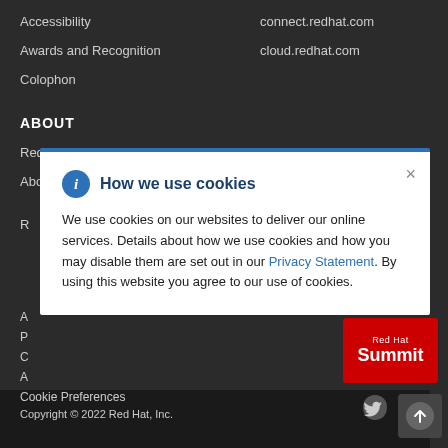Accessibility
connect.redhat.com
Awards and Recognition
cloud.redhat.com
Colophon
ABOUT
Red Hat Subscription Value
About Red Hat
[Figure (screenshot): Cookie consent modal dialog with title 'How we use cookies', info icon, close button, body text about cookie usage with a Privacy Statement link, and a Red Hat Summit badge visible in the background]
Cookie Preferences
Copyright © 2022 Red Hat, Inc.